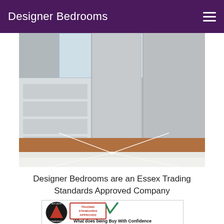Designer Bedrooms
[Figure (photo): Modern white fitted bedroom wardrobes/cabinets with LED floor lighting creating a cross-shaped light effect on carpet flooring]
Designer Bedrooms are an Essex Trading Standards Approved Company
[Figure (logo): Buy With Confidence badge with circular logo and Trading Standards Approved stamp with checkmark. Text below reads: What does being Buy With Confidence]